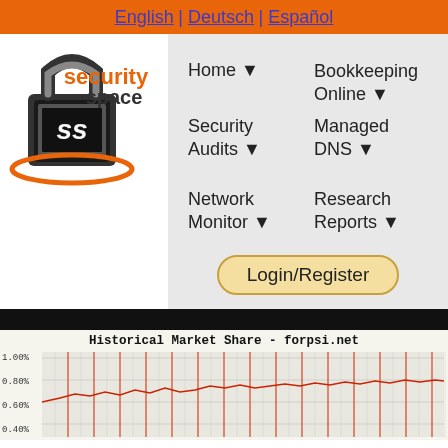English | Deutsch | Español
[Figure (logo): Security Space logo with padlock and orbital ring graphic]
Home ▼
Bookkeeping Online ▼
Security Audits ▼
Managed DNS ▼
Network Monitor ▼
Research Reports ▼
Login/Register
Historical Market Share - forpsi.net
[Figure (continuous-plot): Historical market share line chart for forpsi.net showing values from approximately 0.40% to 1.00% with red vertical grid lines on light background. Y-axis labels: 1.00%, 0.80%, 0.60%, 0.40%]